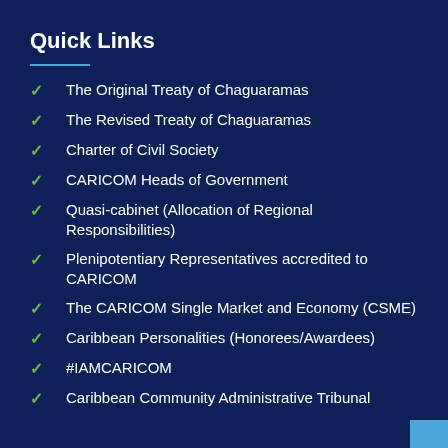Quick Links
The Original Treaty of Chaguaramas
The Revised Treaty of Chaguaramas
Charter of Civil Society
CARICOM Heads of Government
Quasi-cabinet (Allocation of Regional Responsibilities)
Plenipotentiary Representatives accredited to CARICOM
The CARICOM Single Market and Economy (CSME)
Caribbean Personalities (Honorees/Awardees)
#IAMCARICOM
Caribbean Community Administrative Tribunal